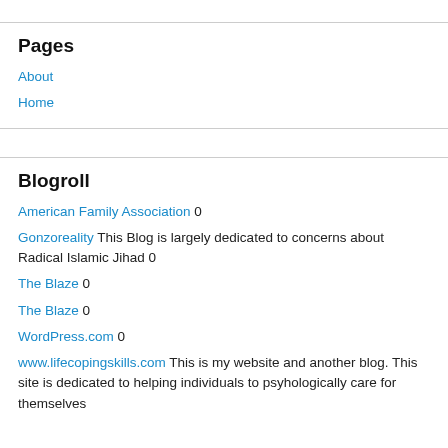Pages
About
Home
Blogroll
American Family Association 0
Gonzoreality This Blog is largely dedicated to concerns about Radical Islamic Jihad 0
The Blaze 0
The Blaze 0
WordPress.com 0
www.lifecopingskills.com This is my website and another blog. This site is dedicated to helping individuals to psyhologically care for themselves